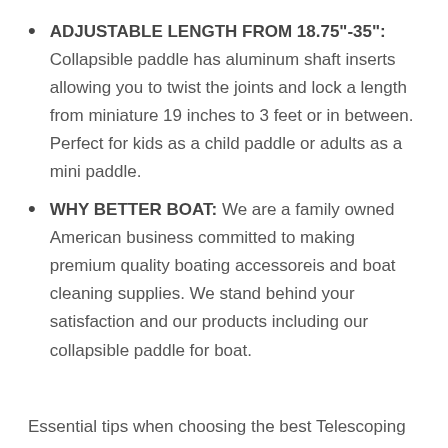ADJUSTABLE LENGTH FROM 18.75"-35": Collapsible paddle has aluminum shaft inserts allowing you to twist the joints and lock a length from miniature 19 inches to 3 feet or in between. Perfect for kids as a child paddle or adults as a mini paddle.
WHY BETTER BOAT: We are a family owned American business committed to making premium quality boating accessoreis and boat cleaning supplies. We stand behind your satisfaction and our products including our collapsible paddle for boat.
Essential tips when choosing the best Telescoping Boat Paddle.